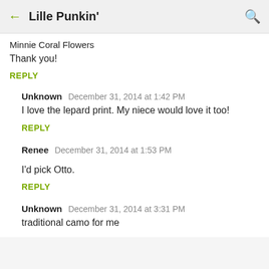Lille Punkin'
Minnie Coral Flowers
Thank you!
REPLY
Unknown   December 31, 2014 at 1:42 PM
I love the lepard print. My niece would love it too!
REPLY
Renee   December 31, 2014 at 1:53 PM
I'd pick Otto.
REPLY
Unknown   December 31, 2014 at 3:31 PM
traditional camo for me